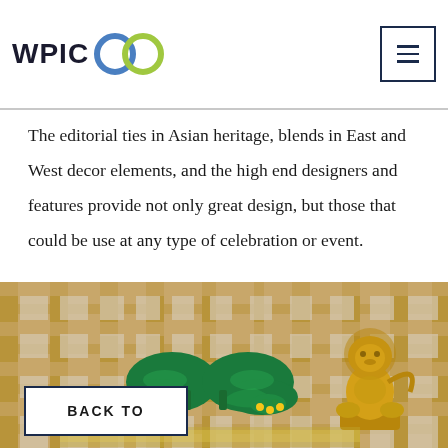WPIC [logo with rings]
The editorial ties in Asian heritage, blends in East and West decor elements, and the high end designers and features provide not only great design, but those that could be use at any type of celebration or event.
[Figure (photo): Photo of a pair of emerald green jeweled heels placed on a wooden lattice background next to a gold decorative lion figurine]
BACK TO